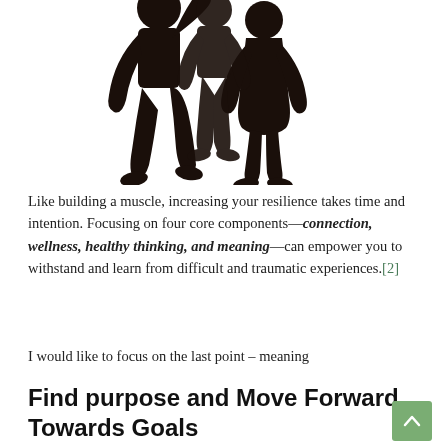[Figure (illustration): Dark silhouette illustration of three people standing together (group/team silhouettes), cropped at the top of the page.]
Like building a muscle, increasing your resilience takes time and intention. Focusing on four core components—connection, wellness, healthy thinking, and meaning—can empower you to withstand and learn from difficult and traumatic experiences.[2]
I would like to focus on the last point – meaning
Find purpose and Move Forward Towards Goals